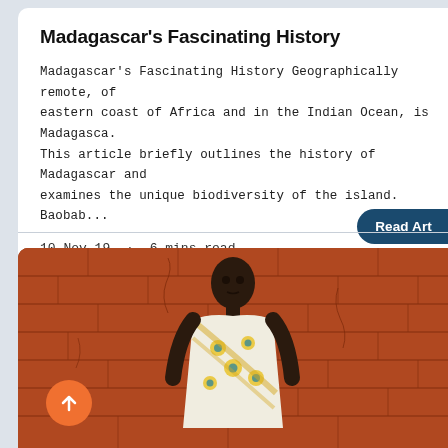Madagascar's Fascinating History
Madagascar's Fascinating History Geographically remote, of eastern coast of Africa and in the Indian Ocean, is Madagascar. This article briefly outlines the history of Madagascar and examines the unique biodiversity of the island. Baobab...
10 Nov 19  ·  6 mins read
Read Art
[Figure (photo): A person in colorful traditional African patterned clothing standing against a cracked red/terracotta clay brick wall]